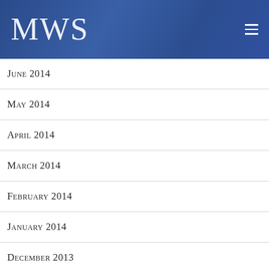MWS
June 2014
May 2014
April 2014
March 2014
February 2014
January 2014
December 2013
November 2013